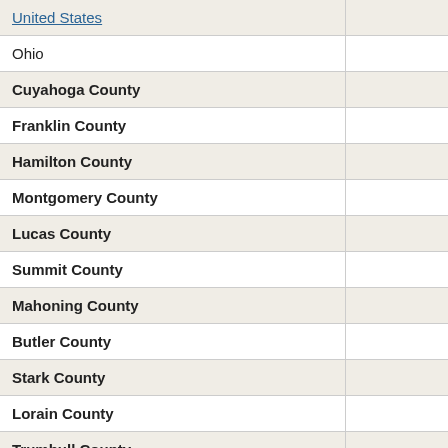| Location |  |
| --- | --- |
| United States |  |
| Ohio |  |
| Cuyahoga County |  |
| Franklin County |  |
| Hamilton County |  |
| Montgomery County |  |
| Lucas County |  |
| Summit County |  |
| Mahoning County |  |
| Butler County |  |
| Stark County |  |
| Lorain County |  |
| Trumbull County |  |
| Allen County |  |
| Greene County |  |
| Fairfield County |  |
| Clark County |  |